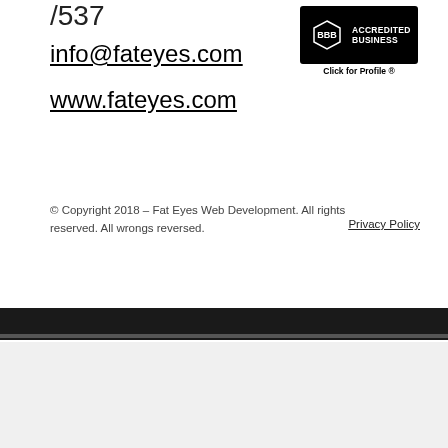/537
info@fateyes.com
www.fateyes.com
[Figure (logo): BBB Accredited Business badge with 'Click for Profile' text below]
© Copyright 2018 – Fat Eyes Web Development. All rights reserved. All wrongs reversed.
Privacy Policy
[Figure (photo): Author photo of Gina Fiedel, a woman with curly blonde hair, seated in front of a blue background]
By: Gina Fiedel
Gina Fiedel is the co-founder/owner of Fat Eyes Web Development. After a successful career as an artist and transitioning into